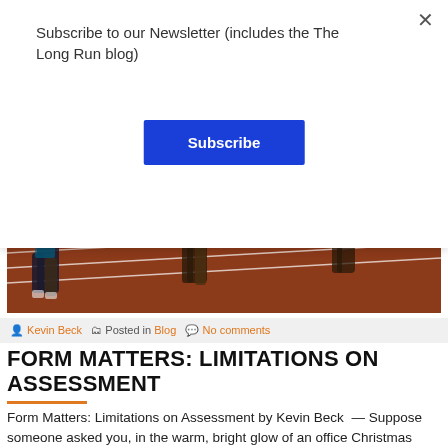Subscribe to our Newsletter (includes the The Long Run blog)
Subscribe
[Figure (photo): Runners on a red athletic track, close-up of legs and torsos mid-race]
Kevin Beck  Posted in Blog  No comments
FORM MATTERS: LIMITATIONS ON ASSESSMENT
Form Matters: Limitations on Assessment by Kevin Beck  — Suppose someone asked you, in the warm, bright glow of an office Christmas party, if you have any fear of being in unlit places, or if the idea of being cold and alone in